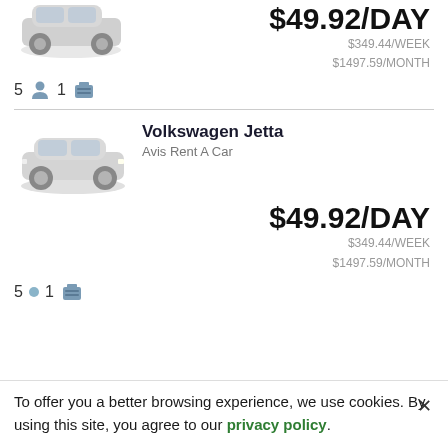$49.92/DAY
$349.44/WEEK
$1497.59/MONTH
5  1
Volkswagen Jetta
Avis Rent A Car
[Figure (photo): White sedan car image for Volkswagen Jetta listing]
$49.92/DAY
$349.44/WEEK
$1497.59/MONTH
5  1
To offer you a better browsing experience, we use cookies. By using this site, you agree to our privacy policy.